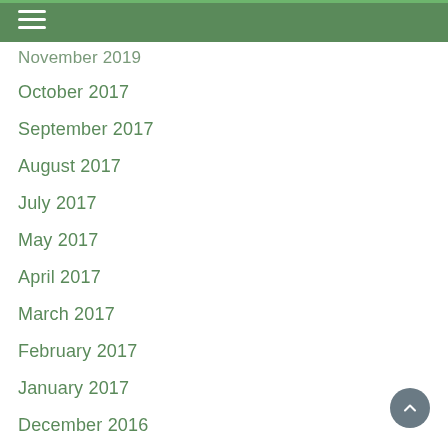November 2019
October 2017
September 2017
August 2017
July 2017
May 2017
April 2017
March 2017
February 2017
January 2017
December 2016